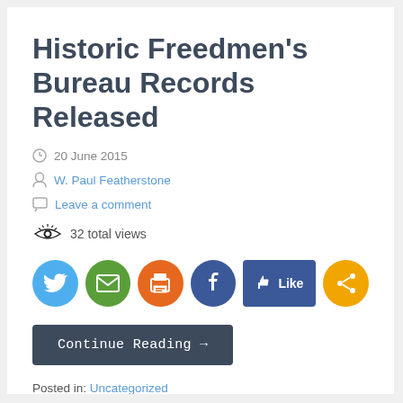Historic Freedmen's Bureau Records Released
20 June 2015
W. Paul Featherstone
Leave a comment
32 total views
[Figure (other): Social share buttons: Twitter, Email, Print, Facebook, Like, Share]
Continue Reading →
Posted in: Uncategorized